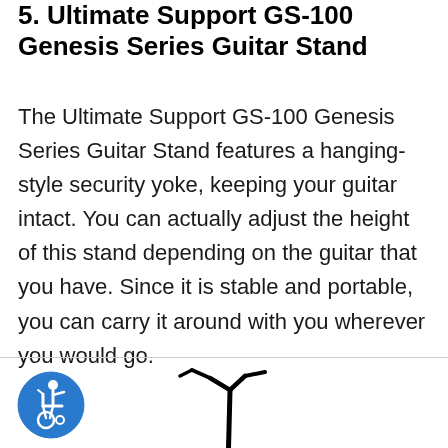5. Ultimate Support GS-100 Genesis Series Guitar Stand
The Ultimate Support GS-100 Genesis Series Guitar Stand features a hanging-style security yoke, keeping your guitar intact. You can actually adjust the height of this stand depending on the guitar that you have. Since it is stable and portable, you can carry it around with you wherever you would go.
[Figure (illustration): Image of the Ultimate Support GS-100 Genesis Series Guitar Stand, showing a thin black guitar stand with a hanging-style yoke at the top and a white/silver base, displayed against a white background.]